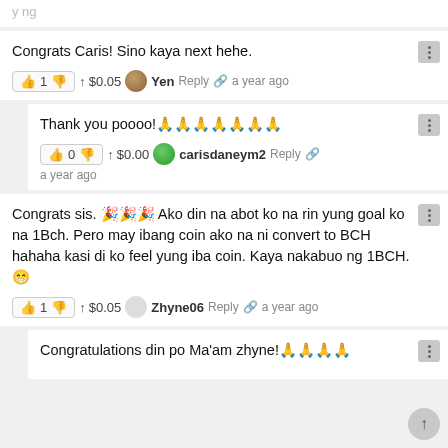[partial text at top, cut off]
Congrats Caris! Sino kaya next hehe.
👍 1 👎 ↑ $0.05  Yen  Reply  🔗  a year ago
Thank you poooo!🙏🙏🙏🙏🙏🙏🙏
👍 0 👎 ↑ $0.00  carisdaneym2  Reply  🔗  a year ago
Congrats sis. 🎉🎉🎉 Ako din na abot ko na rin yung goal ko na 1Bch. Pero may ibang coin ako na ni convert to BCH hahaha kasi di ko feel yung iba coin. Kaya nakabuo ng 1BCH. 😁
👍 1 👎 ↑ $0.05  Zhyne06  Reply  🔗  a year ago
Congratulations din po Ma'am zhyne!🙏🙏🙏🙏